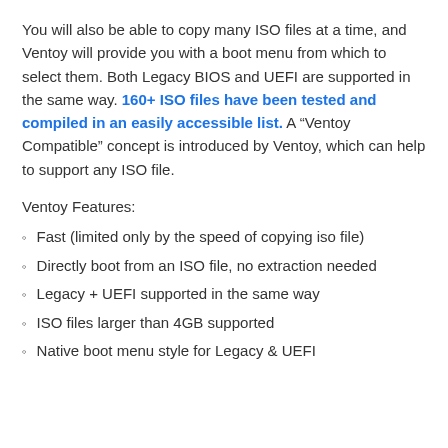You will also be able to copy many ISO files at a time, and Ventoy will provide you with a boot menu from which to select them. Both Legacy BIOS and UEFI are supported in the same way. 160+ ISO files have been tested and compiled in an easily accessible list. A “Ventoy Compatible” concept is introduced by Ventoy, which can help to support any ISO file.
Ventoy Features:
Fast (limited only by the speed of copying iso file)
Directly boot from an ISO file, no extraction needed
Legacy + UEFI supported in the same way
ISO files larger than 4GB supported
Native boot menu style for Legacy & UEFI